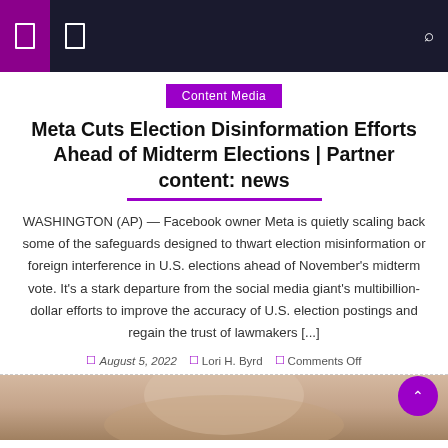Navigation bar with icons
Content Media
Meta Cuts Election Disinformation Efforts Ahead of Midterm Elections | Partner content: news
WASHINGTON (AP) — Facebook owner Meta is quietly scaling back some of the safeguards designed to thwart election misinformation or foreign interference in U.S. elections ahead of November's midterm vote. It's a stark departure from the social media giant's multibillion-dollar efforts to improve the accuracy of U.S. election postings and regain the trust of lawmakers [...]
August 5, 2022  Lori H. Byrd  Comments Off
[Figure (photo): Bottom portion of a person's face/head, cropped]